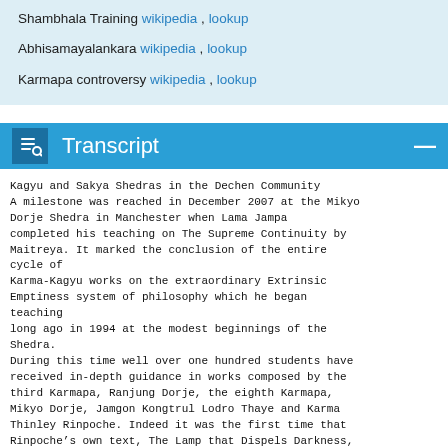Shambhala Training wikipedia , lookup
Abhisamayalankara wikipedia , lookup
Karmapa controversy wikipedia , lookup
Transcript
Kagyu and Sakya Shedras in the Dechen Community A milestone was reached in December 2007 at the Mikyo Dorje Shedra in Manchester when Lama Jampa completed his teaching on The Supreme Continuity by Maitreya. It marked the conclusion of the entire cycle of Karma-Kagyu works on the extraordinary Extrinsic Emptiness system of philosophy which he began teaching long ago in 1994 at the modest beginnings of the Shedra. During this time well over one hundred students have received in-depth guidance in works composed by the third Karmapa, Ranjung Dorje, the eighth Karmapa, Mikyo Dorje, Jamgon Kongtrul Lodro Thaye and Karma Thinley Rinpoche. Indeed it was the first time that Rinpoche’s own text, The Lamp that Dispels Darkness, a commentary on Discriminating Between Consciousness and Primordial Wisdom had been taught in public.